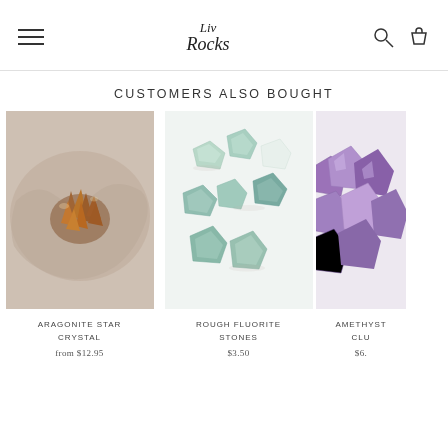Liv Rocks
CUSTOMERS ALSO BOUGHT
[Figure (photo): Aragonite Star Crystal - brown crystalline mineral cluster on white/beige surface]
ARAGONITE STAR CRYSTAL
from $12.95
[Figure (photo): Rough Fluorite Stones - collection of light green/teal rough crystal stones on white background]
ROUGH FLUORITE STONES
$3.50
[Figure (photo): Amethyst Cluster - partially visible on right edge]
AMETHYST CLUSTER
$6.